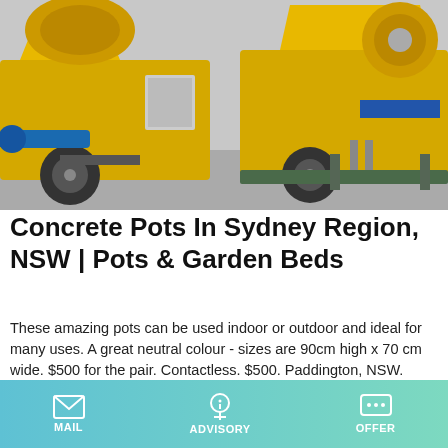[Figure (photo): Yellow concrete mixer / pump machinery on wheels, industrial construction equipment]
Concrete Pots In Sydney Region, NSW | Pots & Garden Beds
These amazing pots can be used indoor or outdoor and ideal for many uses. A great neutral colour - sizes are 90cm high x 70 cm wide. $500 for the pair. Contactless. $500. Paddington, NSW. 17/10/2021. Minimalist concrete planter / pot dark grey. Round concrete planter in dark grey. Great condition.
Learn More
[Figure (photo): Partial view of orange/dark industrial machinery]
MAIL | ADVISORY | OFFER